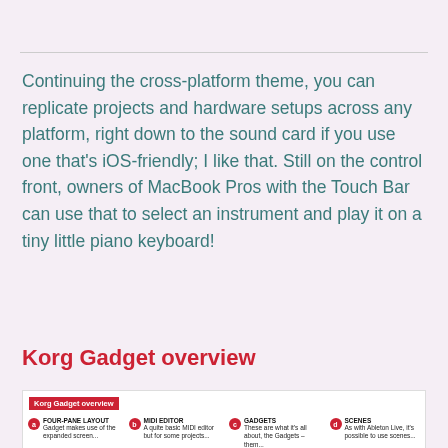Continuing the cross-platform theme, you can replicate projects and hardware setups across any platform, right down to the sound card if you use one that's iOS-friendly; I like that. Still on the control front, owners of MacBook Pros with the Touch Bar can use that to select an instrument and play it on a tiny little piano keyboard!
Korg Gadget overview
[Figure (infographic): Korg Gadget overview panel with four labeled sections: a) Four-Pane Layout, b) MIDI Editor, c) Gadgets, d) Scenes, each with a short description and a red circle letter label.]